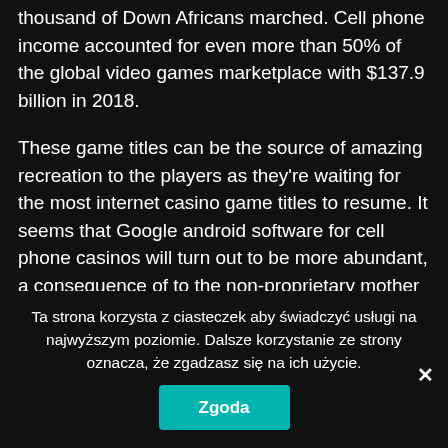thousand of Down Africans marched. Cell phone income accounted for even more than 50% of the global video games marketplace with $137.9 billion in 2018.
These game titles can be the source of amazing recreation to the players as they're waiting for the most internet casino game titles to resume. It seems that Google android software for cell phone casinos will turn out to be more abundant, a consequence of to the non-proprietary mother nature of the Google android operating method and the increasing acceptance of Google android handsets present in the universe. Easily load the mobile modern casino app or
Ta strona korzysta z ciasteczek aby świadczyć usługi na najwyższym poziomie. Dalsze korzystanie ze strony oznacza, że zgadzasz się na ich użycie.